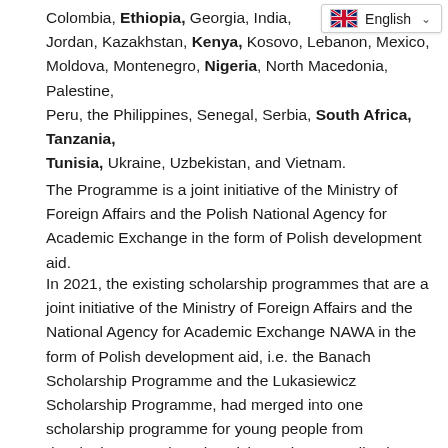[Figure (screenshot): Language selector widget showing UK flag and 'English' with dropdown chevron]
Colombia, Ethiopia, Georgia, India, Jordan, Kazakhstan, Kenya, Kosovo, Lebanon, Mexico, Moldova, Montenegro, Nigeria, North Macedonia, Palestine, Peru, the Philippines, Senegal, Serbia, South Africa, Tanzania, Tunisia, Ukraine, Uzbekistan, and Vietnam.
The Programme is a joint initiative of the Ministry of Foreign Affairs and the Polish National Agency for Academic Exchange in the form of Polish development aid.
In 2021, the existing scholarship programmes that are a joint initiative of the Ministry of Foreign Affairs and the National Agency for Academic Exchange NAWA in the form of Polish development aid, i.e. the Banach Scholarship Programme and the Lukasiewicz Scholarship Programme, had merged into one scholarship programme for young people from developing countries who wish to take up studies in Poland.